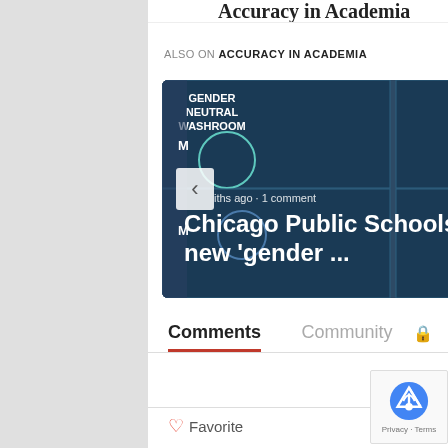Accuracy in Academia
ALSO ON ACCURACY IN ACADEMIA
[Figure (screenshot): Carousel showing article preview: 'Chicago Public Schools institute new gender ...' with gender neutral washroom signs image, and partial second article 'Utah edu equi'. Navigation arrows on sides. Overlay text shows 'iths ago · 1 comment'.]
Comments
Community
Login
Favorite
Sort by Best